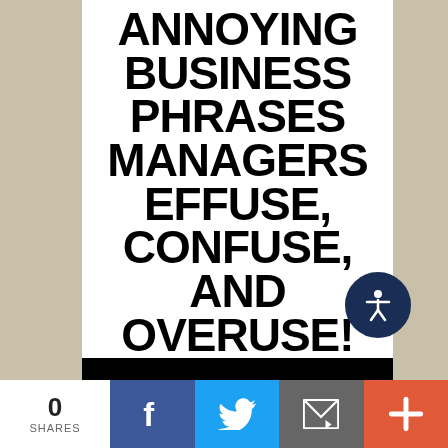ANNOYING BUSINESS PHRASES MANAGERS EFFUSE, CONFUSE, AND OVERUSE!
A reference manual to maintain your sanity in the workplace.
[Figure (illustration): Black silhouette of a person in a top hat at the bottom of the book cover]
0 SHARES